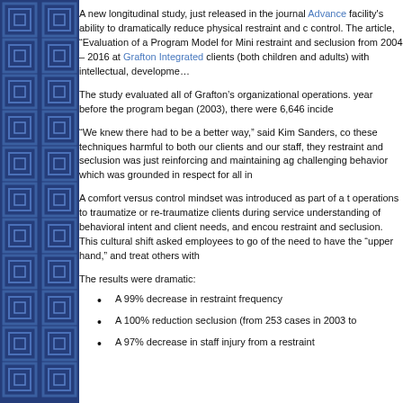[Figure (illustration): Dark blue decorative sidebar with geometric maze/labyrinth pattern in lighter blue tones]
A new longitudinal study, just released in the journal Advance facility's ability to dramatically reduce physical restraint and c control. The article, "Evaluation of a Program Model for Mini restraint and seclusion from 2004 – 2016 at Grafton Integrated clients (both children and adults) with intellectual, development
The study evaluated all of Grafton's organizational operations. year before the program began (2003), there were 6,646 incide
"We knew there had to be a better way," said Kim Sanders, co these techniques harmful to both our clients and our staff, they restraint and seclusion was just reinforcing and maintaining ag challenging behavior which was grounded in respect for all in
A comfort versus control mindset was introduced as part of a t operations to traumatize or re-traumatize clients during service understanding of behavioral intent and client needs, and encou restraint and seclusion. This cultural shift asked employees to go of the need to have the "upper hand," and treat others with
The results were dramatic:
A 99% decrease in restraint frequency
A 100% reduction seclusion (from 253 cases in 2003 to
A 97% decrease in staff injury from a restraint